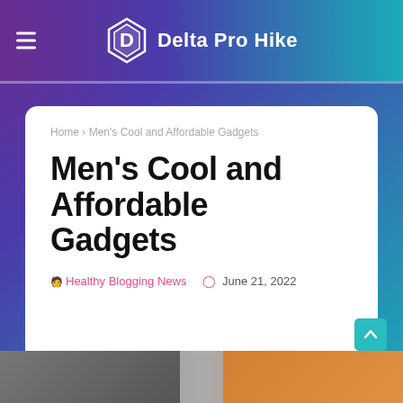Delta Pro Hike
Home › Men's Cool and Affordable Gadgets
Men's Cool and Affordable Gadgets
Healthy Blogging News   June 21, 2022